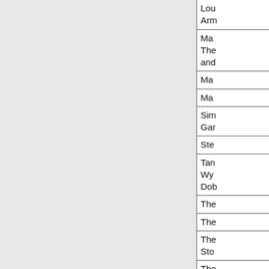| Lou
Arm |
| Ma
The
and |
| Ma |
| Ma |
| Sim
Gar |
| Ste |
| Tan
Wy
Dob |
| The |
| The |
| The
Sto |
| The
Fac |
| The |
| Tom |